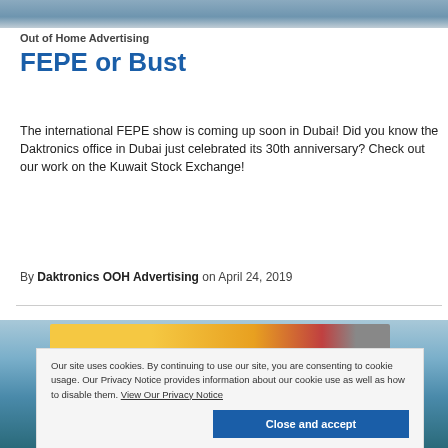[Figure (photo): Top landscape/outdoor photo strip, cropped]
Out of Home Advertising
FEPE or Bust
The international FEPE show is coming up soon in Dubai! Did you know the Daktronics office in Dubai just celebrated its 30th anniversary? Check out our work on the Kuwait Stock Exchange!
By Daktronics OOH Advertising on April 24, 2019
[Figure (photo): Outdoor advertising display photo, partially visible]
Our site uses cookies. By continuing to use our site, you are consenting to cookie usage. Our Privacy Notice provides information about our cookie use as well as how to disable them. View Our Privacy Notice  Close and accept